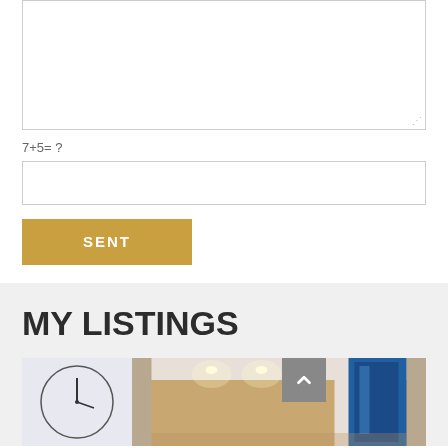(textarea — message input field)
7+5= ?
(captcha input field)
SENT
MY LISTINGS
[Figure (photo): Two property listing thumbnail photos side by side — left shows a room with a large circular clock sculpture, right shows an interior with warm wood paneling and recessed ceiling lights with blue night-sky window view. A grey scroll-to-top button with an upward chevron appears in the upper right area of the photo strip.]